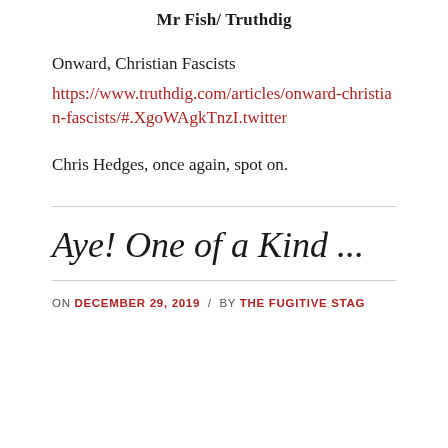Mr Fish/ Truthdig
Onward, Christian Fascists
https://www.truthdig.com/articles/onward-christian-fascists/#.XgoWAgkTnzI.twitter
Chris Hedges, once again, spot on.
Aye! One of a Kind ...
ON DECEMBER 29, 2019 / BY THE FUGITIVE STAG